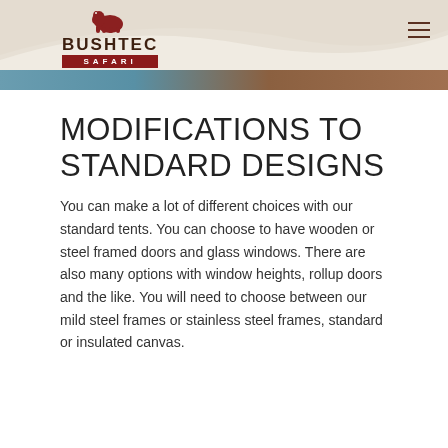[Figure (logo): Bushtec Safari logo with elephant icon and red SAFARI banner]
[Figure (photo): Decorative header banner with curved wave graphic and landscape photo strip showing blue sky and warm tones]
MODIFICATIONS TO STANDARD DESIGNS
You can make a lot of different choices with our standard tents. You can choose to have wooden or steel framed doors and glass windows. There are also many options with window heights, rollup doors and the like. You will need to choose between our mild steel frames or stainless steel frames, standard or insulated canvas.